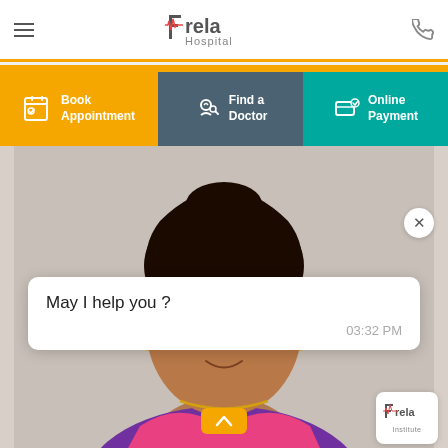[Figure (screenshot): Rela Hospital mobile app screenshot showing header with hamburger menu, Rela Hospital logo, phone icon, orange accent bar, three navigation buttons (Book Appointment, Find a Doctor, Online Payment), a doctor photo with a chat overlay bubble saying 'May I help you ?' at 03:32 PM, a close X button, scroll up button, and Rela Institute logo at bottom right.]
Book Appointment
Find a Doctor
Online Payment
May I help you ?
03:32 PM